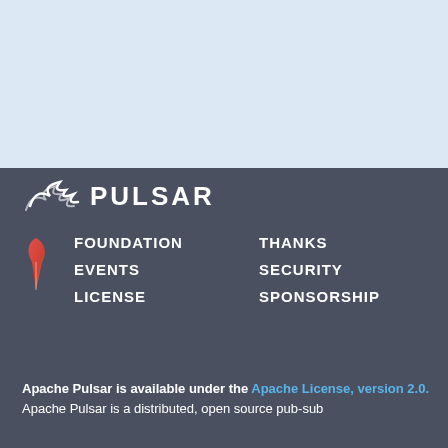[Figure (logo): Apache Pulsar logo with stylized bird/wave icon and text PULSAR in white on dark background]
FOUNDATION
THANKS
EVENTS
SECURITY
LICENSE
SPONSORSHIP
Apache Pulsar is available under the Apache License, version 2.0.
Apache Pulsar is a distributed, open source pub-sub